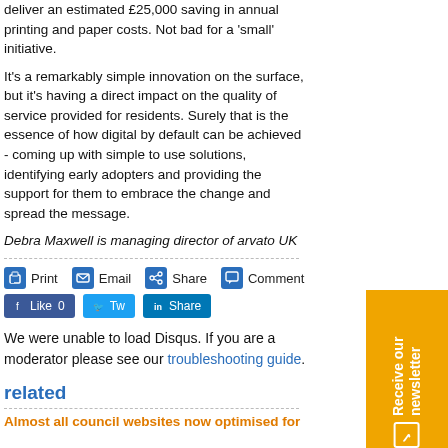deliver an estimated £25,000 saving in annual printing and paper costs. Not bad for a 'small' initiative.
It's a remarkably simple innovation on the surface, but it's having a direct impact on the quality of service provided for residents. Surely that is the essence of how digital by default can be achieved - coming up with simple to use solutions, identifying early adopters and providing the support for them to embrace the change and spread the message.
Debra Maxwell is managing director of arvato UK
[Figure (screenshot): Social action bar with Print, Email, Share, Comment buttons and Facebook Like, Twitter, LinkedIn Share social buttons]
We were unable to load Disqus. If you are a moderator please see our troubleshooting guide.
related
Almost all council websites now optimised for